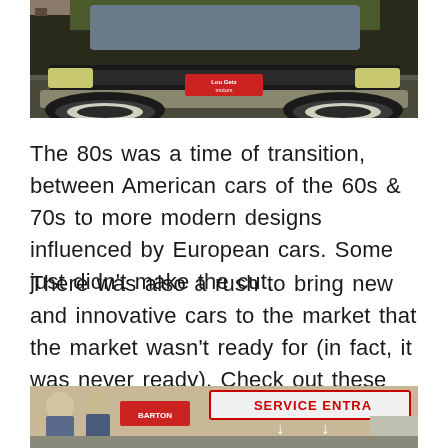[Figure (photo): Top portion of a classic American car from the 1980s, showing the front grille area with a red Lou Getz Motors dealer plate, parked on a street.]
The 80s was a time of transition, between American cars of the 60s & 70s to more modern designs influenced by European cars. Some just didn't make the cut.
There was also a rush to bring new and innovative cars to the market that the market wasn't ready for (in fact, it was never ready). Check out these fails form the 1980s.
[Figure (photo): Bottom portion showing people near a Service Entrance sign, partial view of a car dealership or auto show scene from the 1980s.]